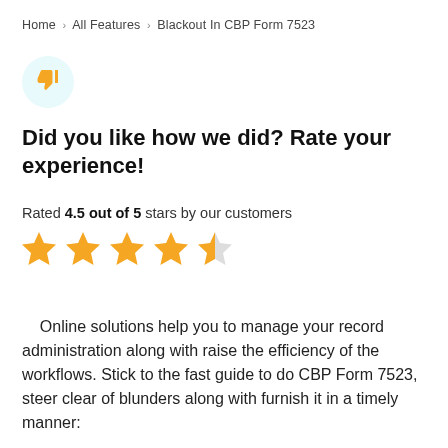Home › All Features › Blackout In CBP Form 7523
[Figure (illustration): Thumbs down emoji icon in a light cyan circle]
Did you like how we did? Rate your experience!
Rated 4.5 out of 5 stars by our customers
[Figure (infographic): 4.5 out of 5 stars rating shown as four full gold stars and one half gold star]
Online solutions help you to manage your record administration along with raise the efficiency of the workflows. Stick to the fast guide to do CBP Form 7523, steer clear of blunders along with furnish it in a timely manner: